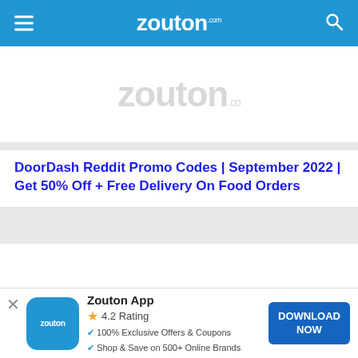zouton.com
[Figure (logo): Zouton watermark logo placeholder image (gray text on white background)]
DoorDash Reddit Promo Codes | September 2022 | Get 50% Off + Free Delivery On Food Orders
[Figure (logo): Zouton watermark logo placeholder image (gray text on white background), larger]
Zouton App 4.2 Rating 100% Exclusive Offers & Coupons Shop & Save on 500+ Online Brands DOWNLOAD NOW